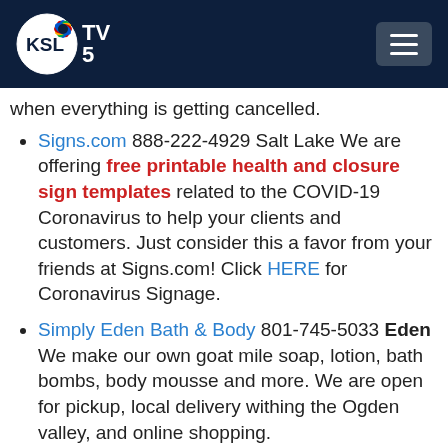[Figure (logo): KSL TV 5 NBC affiliate logo with NBC peacock in top right of header bar]
when everything is getting cancelled.
Signs.com 888-222-4929 Salt Lake We are offering free printable health and closure sign templates related to the COVID-19 Coronavirus to help your clients and customers. Just consider this a favor from your friends at Signs.com! Click HERE for Coronavirus Signage.
Simply Eden Bath & Body 801-745-5033 Eden We make our own goat mile soap, lotion, bath bombs, body mousse and more. We are open for pickup, local delivery withing the Ogden valley, and online shopping.